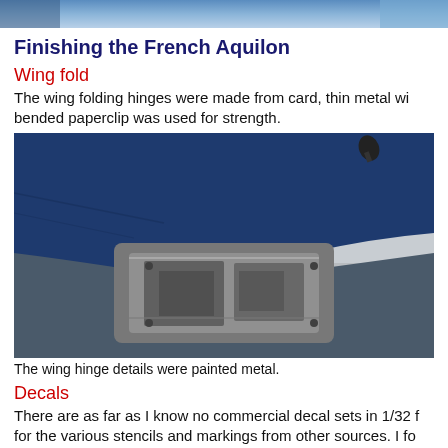[Figure (photo): Partial top strip showing a blue/grey background photo at the very top of the page.]
Finishing the French Aquilon
Wing fold
The wing folding hinges were made from card, thin metal wi... bended paperclip was used for strength.
[Figure (photo): Close-up photograph of a scale model aircraft wing fold area showing detailed metal-painted hinge mechanism against a dark blue wing surface on a grey background.]
The wing hinge details were painted metal.
Decals
There are as far as I know no commercial decal sets in 1/32 f... for the various stencils and markings from other sources. I fo... Avignon/ France had quite some different decals for French (...